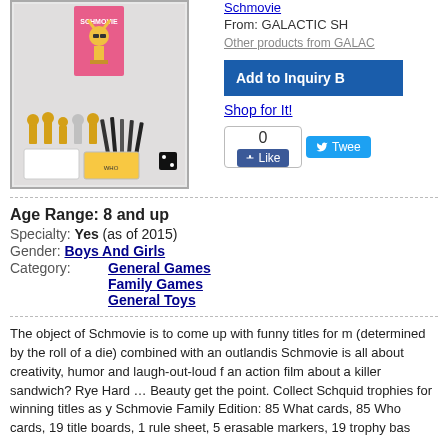[Figure (photo): Product photo of Schmovie board game with trophies, cards, and markers]
Schmovie
From: GALACTIC SH
Other products from GALAC
Add to Inquiry B
Shop for It!
0
Like
Twee
Age Range: 8 and up
Specialty: Yes (as of 2015)
Gender: Boys And Girls
Category: General Games
Family Games
General Toys
The object of Schmovie is to come up with funny titles for m (determined by the roll of a die) combined with an outlandis Schmovie is all about creativity, humor and laugh-out-loud f an action film about a killer sandwich? Rye Hard … Beauty get the point. Collect Schquid trophies for winning titles as y Schmovie Family Edition: 85 What cards, 85 Who cards, 19 title boards, 1 rule sheet, 5 erasable markers, 19 trophy bas
ToyDirectory Product ID#: 37452     (added 11/24/2